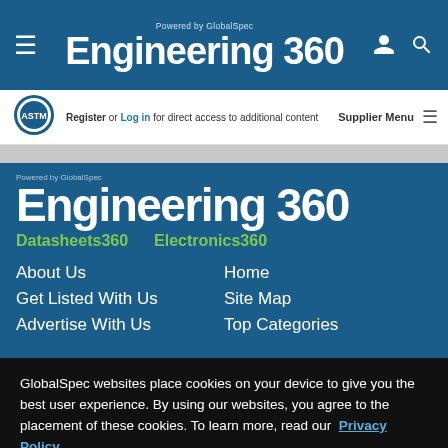Powered by GlobalSpec Engineering 360
Register or Log in for direct access to additional content
Supplier Menu
[Figure (logo): ASTM International logo]
Powered by GlobalSpec Engineering 360
Datasheets360
Electronics360
About Us
Home
Get Listed With Us
Site Map
Advertise With Us
Top Categories
GlobalSpec websites place cookies on your device to give you the best user experience. By using our websites, you agree to the placement of these cookies. To learn more, read our Privacy Policy
Accept & Close